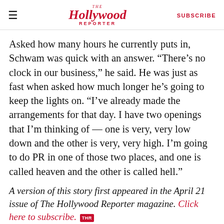The Hollywood Reporter | SUBSCRIBE
Asked how many hours he currently puts in, Schwam was quick with an answer. “There’s no clock in our business,” he said. He was just as fast when asked how much longer he’s going to keep the lights on. “I’ve already made the arrangements for that day. I have two openings that I’m thinking of — one is very, very low down and the other is very, very high. I’m going to do PR in one of those two places, and one is called heaven and the other is called hell.”
A version of this story first appeared in the April 21 issue of The Hollywood Reporter magazine. Click here to subscribe. THR